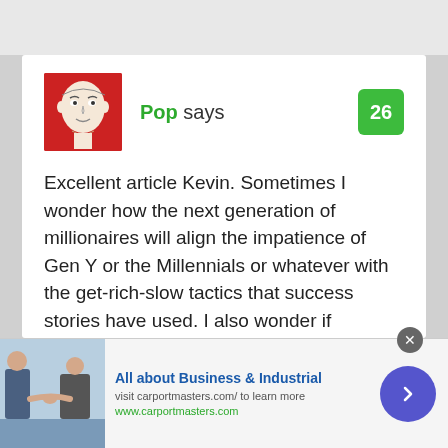[Figure (illustration): Avatar image of user 'Pop' — stylized illustration of a man's face on a red background]
Pop says
26
Excellent article Kevin. Sometimes I wonder how the next generation of millionaires will align the impatience of Gen Y or the Millennials or whatever with the get-rich-slow tactics that success stories have used. I also wonder if becoming a “millionaire” has the same resonance with young people as it did for Baby Boomers. I know a ton of young people who simply don’t see wealth accumulation as the goal anymore. Yes,
[Figure (photo): Advertisement image showing two people shaking hands in a business context]
All about Business & Industrial
visit carportmasters.com/ to learn more
www.carportmasters.com